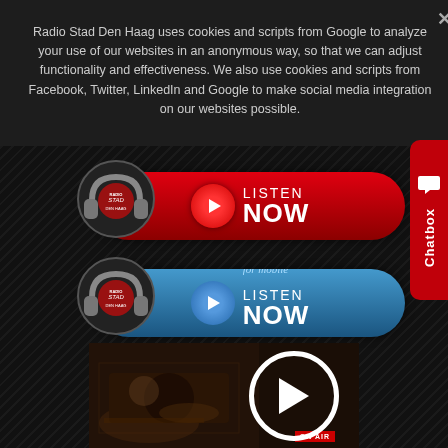Radio Stad Den Haag uses cookies and scripts from Google to analyze your use of our websites in an anonymous way, so that we can adjust functionality and effectiveness. We also use cookies and scripts from Facebook, Twitter, LinkedIn and Google to make social media integration on our websites possible.
[Figure (illustration): Red 'LISTEN NOW' button with play icon and Radio Stad Den Haag logo with headphones (desktop version)]
[Figure (illustration): Blue 'for mobile LISTEN NOW' button with play icon and Radio Stad Den Haag logo with headphones (mobile version)]
[Figure (illustration): Video thumbnail showing DJ scene with large circular play button overlay and ON AIR badge]
[Figure (illustration): Red Chatbox tab on right side with speech bubble icon and vertical 'Chatbox' label]